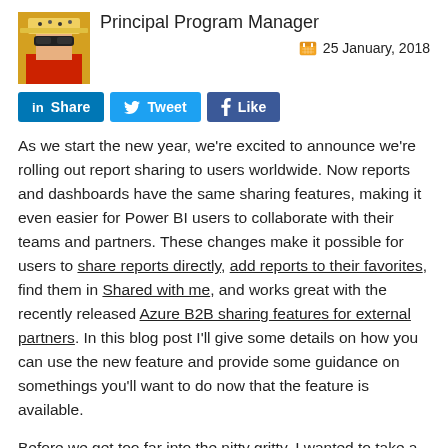Principal Program Manager
25 January, 2018
[Figure (screenshot): Social sharing buttons: LinkedIn Share, Twitter Tweet, Facebook Like]
As we start the new year, we're excited to announce we're rolling out report sharing to users worldwide. Now reports and dashboards have the same sharing features, making it even easier for Power BI users to collaborate with their teams and partners. These changes make it possible for users to share reports directly, add reports to their favorites, find them in Shared with me, and works great with the recently released Azure B2B sharing features for external partners. In this blog post I'll give some details on how you can use the new feature and provide some guidance on somethings you'll want to do now that the feature is available.
Before we get too far into the nitty gritty, I wanted to take a moment to mention that this is the first of a series of improvements in the collaboration area, there are more to